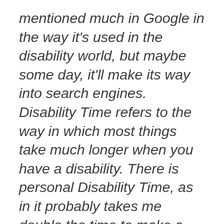mentioned much in Google in the way it's used in the disability world, but maybe some day, it'll make its way into search engines. Disability Time refers to the way in which most things take much longer when you have a disability. There is personal Disability Time, as in it probably takes me double the time to make a cup of hot water in the microwave that it would you and then there is the Disability Time that's imposed by